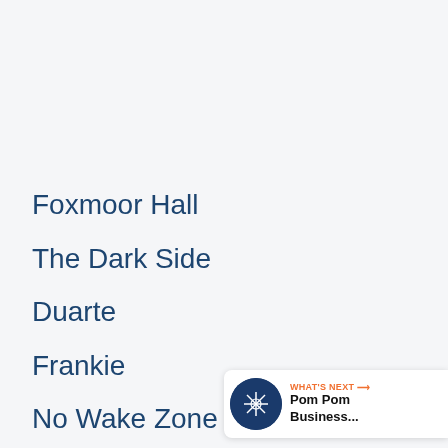Foxmoor Hall
The Dark Side
Duarte
Frankie
No Wake Zone
[Figure (infographic): Orange circular heart/favorite button with heart icon, count badge showing '1', and white circular share button with share icon]
[Figure (infographic): What's Next banner with circular logo thumbnail and text 'WHAT'S NEXT → Pom Pom Business...']